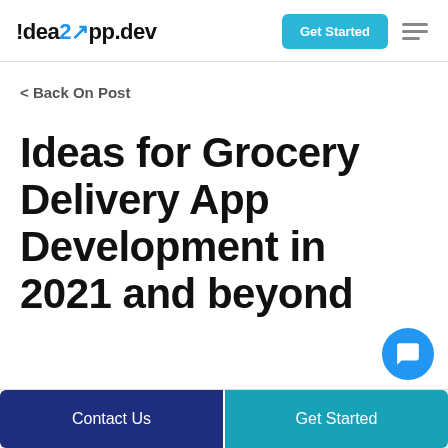!dea2App.dev | Get Started
< Back On Post
Ideas for Grocery Delivery App Development in 2021 and beyond
Contact Us | Get Started